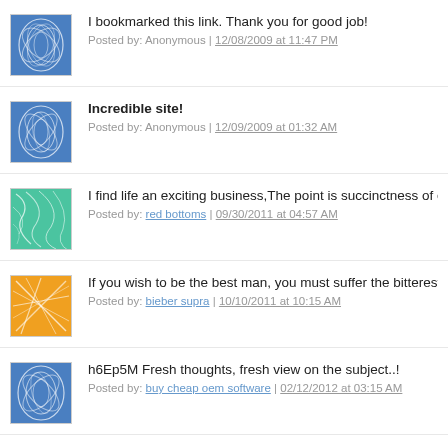I bookmarked this link. Thank you for good job!
Posted by: Anonymous | 12/08/2009 at 11:47 PM
Incredible site!
Posted by: Anonymous | 12/09/2009 at 01:32 AM
I find life an exciting business,The point is succinctness of expr…
Posted by: red bottoms | 09/30/2011 at 04:57 AM
If you wish to be the best man, you must suffer the bitterest of t…
Posted by: bieber supra | 10/10/2011 at 10:15 AM
h6Ep5M Fresh thoughts, fresh view on the subject..!
Posted by: buy cheap oem software | 02/12/2012 at 03:15 AM
I am unable to read articles online very often, but I'm glad I did…